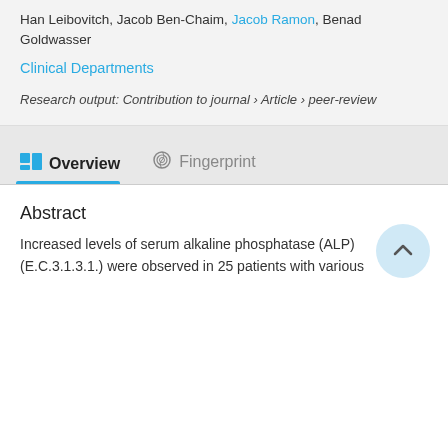Han Leibovitch, Jacob Ben-Chaim, Jacob Ramon, Benad Goldwasser
Clinical Departments
Research output: Contribution to journal › Article › peer-review
Overview   Fingerprint
Abstract
Increased levels of serum alkaline phosphatase (ALP) (E.C.3.1.3.1.) were observed in 25 patients with various